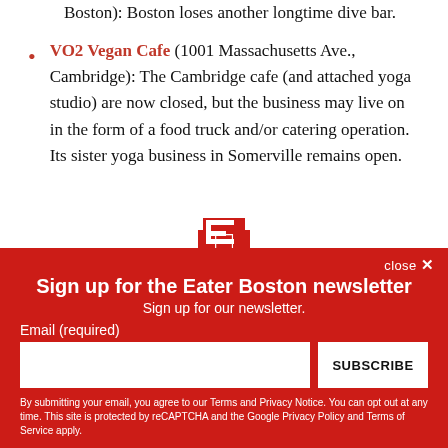Boston): Boston loses another longtime dive bar.
VO2 Vegan Cafe (1001 Massachusetts Ave., Cambridge): The Cambridge cafe (and attached yoga studio) are now closed, but the business may live on in the form of a food truck and/or catering operation. Its sister yoga business in Somerville remains open.
[Figure (logo): Eater logo E symbol in red on white/red strip]
close ×
Sign up for the Eater Boston newsletter
Sign up for our newsletter.
Email (required)
SUBSCRIBE
By submitting your email, you agree to our Terms and Privacy Notice. You can opt out at any time. This site is protected by reCAPTCHA and the Google Privacy Policy and Terms of Service apply.